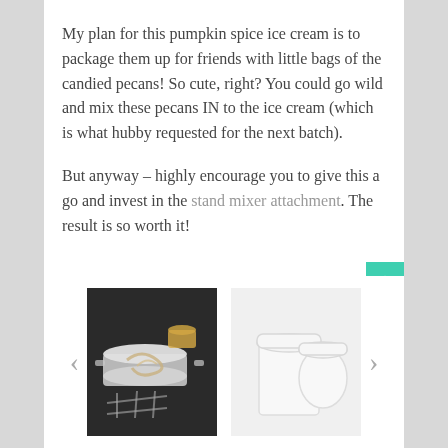My plan for this pumpkin spice ice cream is to package them up for friends with little bags of the candied pecans! So cute, right? You could go wild and mix these pecans IN to the ice cream (which is what hubby requested for the next batch).
But anyway – highly encourage you to give this a go and invest in the stand mixer attachment. The result is so worth it!
[Figure (photo): Two photo thumbnails in a carousel: left image shows an ice cream maker bowl with swirled cream on a dark background; right image shows a white paper ice cream container with lid on a light background. Navigation arrows on each side.]